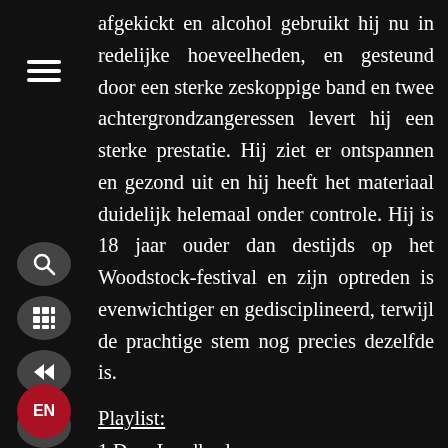afgekickt en alcohol gebruikt hij nu in redelijke hoeveelheden, en gesteund door een sterke zeskoppige band en twee achtergrondzangeressen levert hij een sterke prestatie. Hij ziet er ontspannen en gezond uit en hij heeft het materiaal duidelijk helemaal onder controle. Hij is 18 jaar ouder dan destijds op het Woodstock-festival en zijn optreden is evenwichtiger en gedisciplineerd, terwijl de prachtige stem nog precies dezelfde is.
Playlist:
1 Dear Landlord
2 You Can Leave Your Hat on